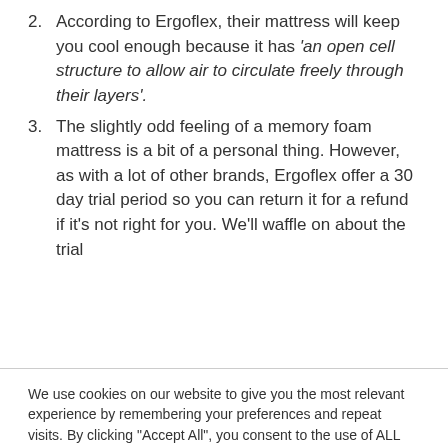2. According to Ergoflex, their mattress will keep you cool enough because it has 'an open cell structure to allow air to circulate freely through their layers'.
3. The slightly odd feeling of a memory foam mattress is a bit of a personal thing. However, as with a lot of other brands, Ergoflex offer a 30 day trial period so you can return it for a refund if it's not right for you. We'll waffle on about the trial
We use cookies on our website to give you the most relevant experience by remembering your preferences and repeat visits. By clicking "Accept All", you consent to the use of ALL the cookies.